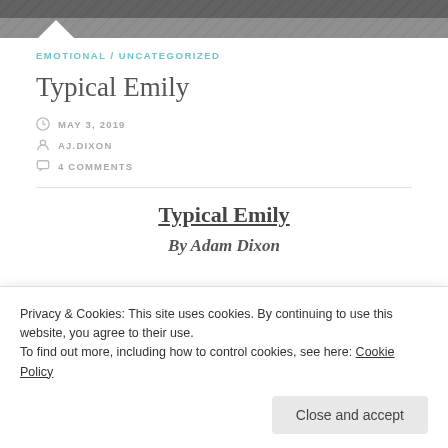[Figure (photo): Header image — dark grayscale photo of pavement/floor texture with a white downward-pointing triangle at bottom left]
EMOTIONAL / UNCATEGORIZED
Typical Emily
MAY 3, 2019
AJ.DIXON
4 COMMENTS
Typical Emily
By Adam Dixon
Privacy & Cookies: This site uses cookies. By continuing to use this website, you agree to their use.
To find out more, including how to control cookies, see here: Cookie Policy
Close and accept